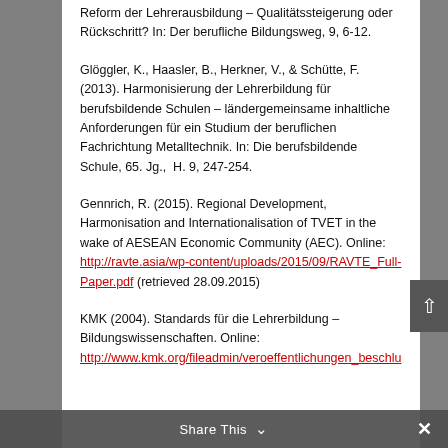Reform der Lehrerausbildung – Qualitätssteigerung oder Rückschritt? In: Der berufliche Bildungsweg, 9, 6-12.
Glöggler, K., Haasler, B., Herkner, V., & Schütte, F. (2013). Harmonisierung der Lehrerbildung für berufsbildende Schulen – ländergemeinsame inhaltliche Anforderungen für ein Studium der beruflichen Fachrichtung Metalltechnik. In: Die berufsbildende Schule, 65. Jg.,  H. 9, 247-254.
Gennrich, R. (2015). Regional Development, Harmonisation and Internationalisation of TVET in the wake of AESEAN Economic Community (AEC). Online: http://ravte.asia/wp-content/uploads/2015/09/RAVTE_Full-Paper.pdf (retrieved 28.09.2015)
KMK (2004). Standards für die Lehrerbildung – Bildungswissenschaften. Online: http://www.kmk.org/fileadmin/veroeffentlichungen_beschlu...